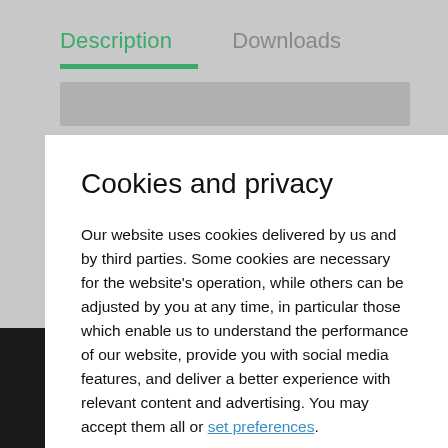Description    Downloads
Cookies and privacy
Our website uses cookies delivered by us and by third parties. Some cookies are necessary for the website’s operation, while others can be adjusted by you at any time, in particular those which enable us to understand the performance of our website, provide you with social media features, and deliver a better experience with relevant content and advertising. You may accept them all or set preferences.